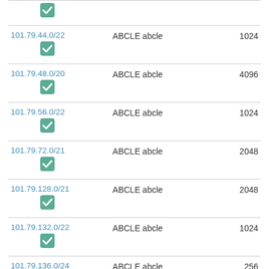| IP Range | Description | Count |
| --- | --- | --- |
| (checkmark only) |  |  |
| 101.79.44.0/22 | ABCLE abcle | 1024 |
| 101.79.48.0/20 | ABCLE abcle | 4096 |
| 101.79.56.0/22 | ABCLE abcle | 1024 |
| 101.79.72.0/21 | ABCLE abcle | 2048 |
| 101.79.128.0/21 | ABCLE abcle | 2048 |
| 101.79.132.0/22 | ABCLE abcle | 1024 |
| 101.79.136.0/24 | ABCLE abcle | 256 |